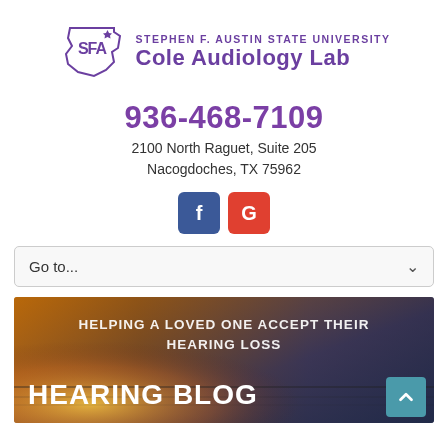[Figure (logo): Stephen F. Austin State University Cole Audiology Lab logo with SFA shield emblem]
936-468-7109
2100 North Raguet, Suite 205
Nacogdoches, TX 75962
[Figure (illustration): Facebook and Google social media icon buttons]
Go to...
[Figure (photo): Banner image with sunset over water background. Text reads: HELPING A LOVED ONE ACCEPT THEIR HEARING LOSS / HEARING BLOG]